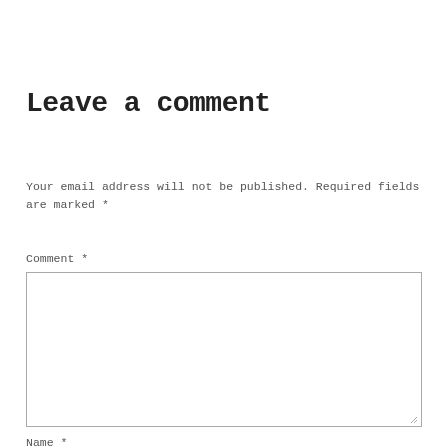Leave a comment
Your email address will not be published. Required fields are marked *
Comment *
Name *